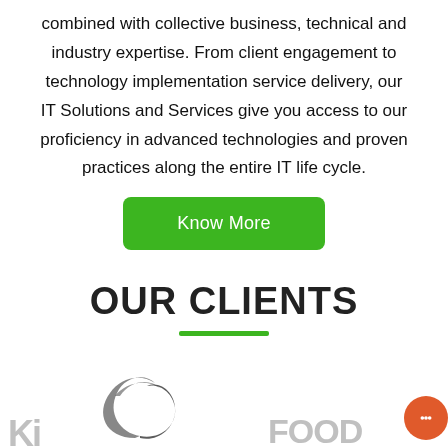combined with collective business, technical and industry expertise. From client engagement to technology implementation service delivery, our IT Solutions and Services give you access to our proficiency in advanced technologies and proven practices along the entire IT life cycle.
Know More
OUR CLIENTS
[Figure (logo): Partial client logos visible at the bottom of the page including partial text logos on left and right sides]